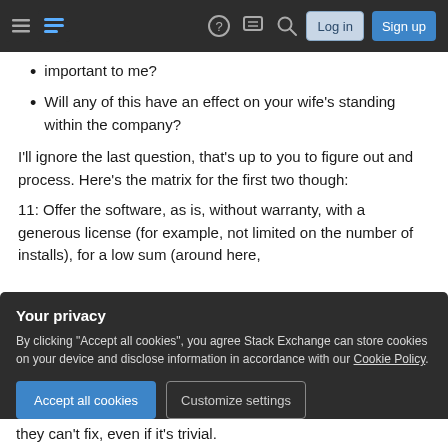Stack Exchange navigation bar with hamburger menu, logo, help, chat, search, Log in, Sign up
Will any of this have an effect on your wife's standing within the company?
I'll ignore the last question, that's up to you to figure out and process. Here's the matrix for the first two though:
11: Offer the software, as is, without warranty, with a generous license (for example, not limited on the number of installs), for a low sum (around here,
they can't fix, even if it's trivial.
Your privacy
By clicking "Accept all cookies", you agree Stack Exchange can store cookies on your device and disclose information in accordance with our Cookie Policy.
[Accept all cookies] [Customize settings]